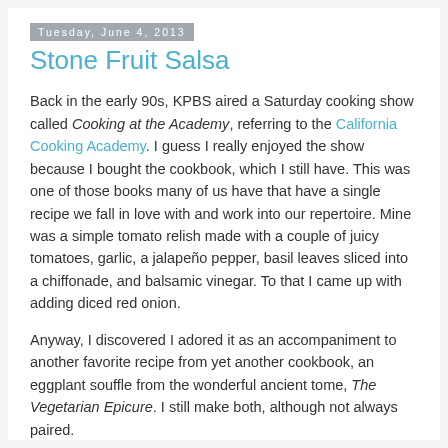Tuesday, June 4, 2013
Stone Fruit Salsa
Back in the early 90s, KPBS aired a Saturday cooking show called Cooking at the Academy, referring to the California Cooking Academy. I guess I really enjoyed the show because I bought the cookbook, which I still have. This was one of those books many of us have that have a single recipe we fall in love with and work into our repertoire. Mine was a simple tomato relish made with a couple of juicy tomatoes, garlic, a jalapeño pepper, basil leaves sliced into a chiffonade, and balsamic vinegar. To that I came up with adding diced red onion.
Anyway, I discovered I adored it as an accompaniment to another favorite recipe from yet another cookbook, an eggplant souffle from the wonderful ancient tome, The Vegetarian Epicure. I still make both, although not always paired.